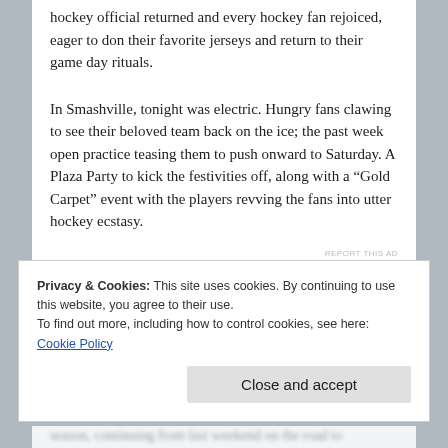hockey official returned and every hockey fan rejoiced, eager to don their favorite jerseys and return to their game day rituals.
In Smashville, tonight was electric. Hungry fans clawing to see their beloved team back on the ice; the past week open practice teasing them to push onward to Saturday. A Plaza Party to kick the festivities off, along with a “Gold Carpet” event with the players revving the fans into utter hockey ecstasy.
REPORT THIS AD
Privacy & Cookies: This site uses cookies. By continuing to use this website, you agree to their use.
To find out more, including how to control cookies, see here: Cookie Policy
Close and accept